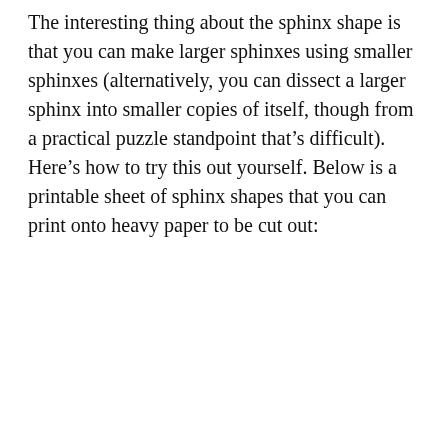The interesting thing about the sphinx shape is that you can make larger sphinxes using smaller sphinxes (alternatively, you can dissect a larger sphinx into smaller copies of itself, though from a practical puzzle standpoint that’s difficult). Here’s how to try this out yourself. Below is a printable sheet of sphinx shapes that you can print onto heavy paper to be cut out:
[Figure (illustration): A grid of sphinx (hexagonal) shapes arranged in a triangular/rhombus pattern, showing how smaller sphinx pieces tile together to form larger sphinx shapes. The shapes are outlined in thin black lines on a white background.]